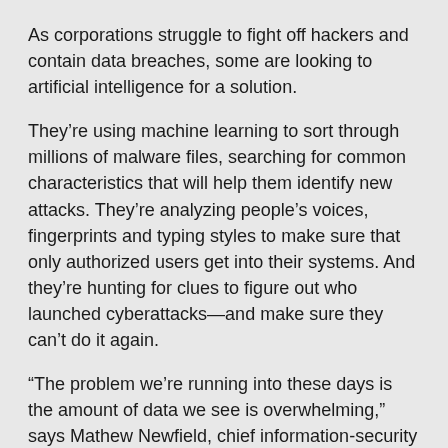As corporations struggle to fight off hackers and contain data breaches, some are looking to artificial intelligence for a solution.
They’re using machine learning to sort through millions of malware files, searching for common characteristics that will help them identify new attacks. They’re analyzing people’s voices, fingerprints and typing styles to make sure that only authorized users get into their systems. And they’re hunting for clues to figure out who launched cyberattacks—and make sure they can’t do it again.
“The problem we’re running into these days is the amount of data we see is overwhelming,” says Mathew Newfield, chief information-security officer at Unisys Corp. “Trying to analyze that information is impossible for a human, and that’s where machine learning can come into play.”
The push for AI comes as companies face a huge increase in